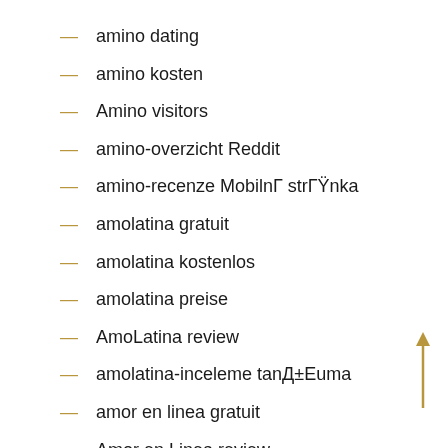amino dating
amino kosten
Amino visitors
amino-overzicht Reddit
amino-recenze Mobilní stránka
amolatina gratuit
amolatina kostenlos
amolatina preise
AmoLatina review
amolatina-inceleme tanışma
amor en linea gratuit
Amor en Linea review